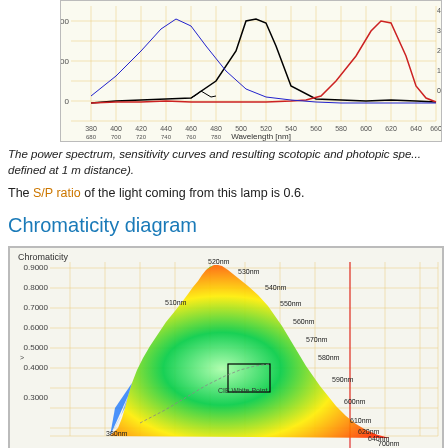[Figure (continuous-plot): Power spectrum, sensitivity curves (scotopic and photopic) plotted against wavelength (nm) from 380 to 780nm. Shows black curve (power spectrum), red curve, blue curve, overlaid on a yellow-orange grid.]
The power spectrum, sensitivity curves and resulting scotopic and photopic spe... defined at 1 m distance).
The S/P ratio of the light coming from this lamp is 0.6.
Chromaticity diagram
[Figure (continuous-plot): CIE chromaticity diagram showing the horseshoe-shaped color gamut with wavelength labels (380nm to 700nm+), a blackbody locus, CIE White Point marker, and a small quadrilateral gamut box. Vertical red line visible. Y-axis from ~0.0 to 0.9, X-axis implied 0.0 to ~0.8.]